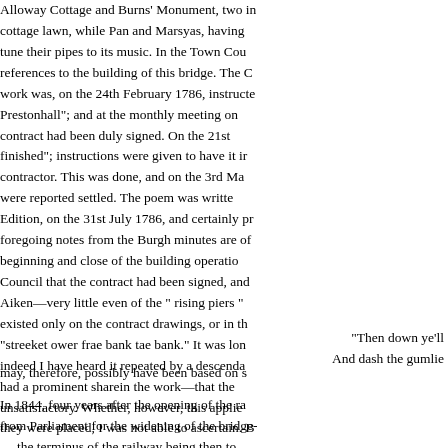Alloway Cottage and Burns' Monument, two in cottage lawn, while Pan and Marsyas, having tune their pipes to its music. In the Town Cou references to the building of this bridge. The C work was, on the 24th February 1786, instructe Prestonhall"; and at the monthly meeting on contract had been duly signed. On the 21st finished"; instructions were given to have it ir contractor. This was done, and on the 3rd Ma were reported settled. The poem was writte Edition, on the 31st July 1786, and certainly pr foregoing notes from the Burgh minutes are of beginning and close of the building operatio Council that the contract had been signed, and Aiken—very little even of the " rising piers " existed only on the contract drawings, or in th "streeket ower frae bank tae bank." It was lon indeed I have heard it repeated by a descenda had a prominent sharein the work—that the unsatisfactory. Whether, however, this applie they were placed, I was not able to ascertain. B
"Then down ye'll And dash the gumlie
may, therefore, possibly have been based on s
In 1844, four years after the opening of the ra from Parliament for the widening of the bridge- — the terminus of the railway being then to